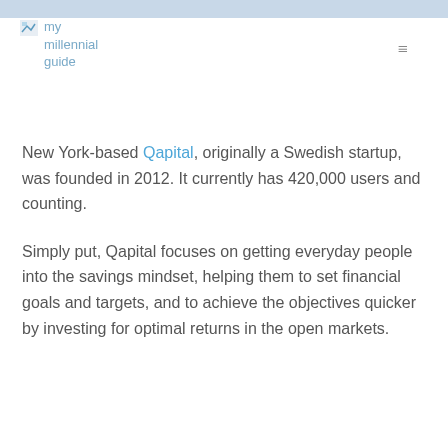my millennial guide
New York-based Qapital, originally a Swedish startup, was founded in 2012. It currently has 420,000 users and counting.
Simply put, Qapital focuses on getting everyday people into the savings mindset, helping them to set financial goals and targets, and to achieve the objectives quicker by investing for optimal returns in the open markets.